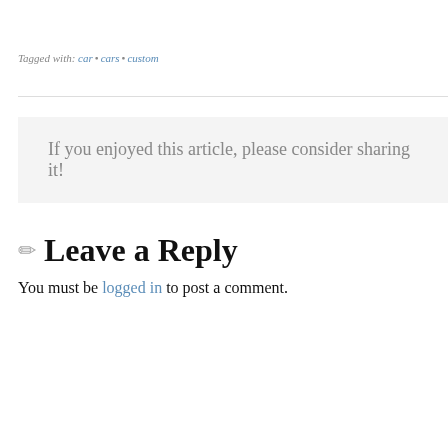Tagged with: car • cars • custom
If you enjoyed this article, please consider sharing it!
✏ Leave a Reply
You must be logged in to post a comment.